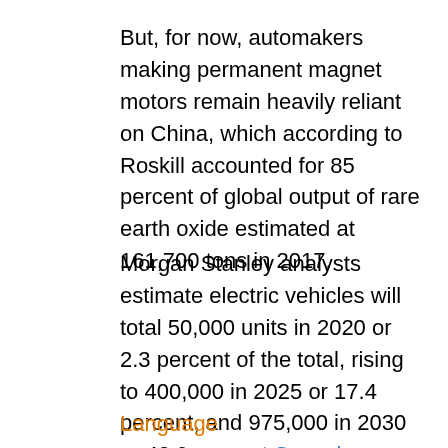But, for now, automakers making permanent magnet motors remain heavily reliant on China, which according to Roskill accounted for 85 percent of global output of rare earth oxide estimated at 161,700 tons in 2017.
Morgan Stanley analysts estimate electric vehicles will total 50,000 units in 2020 or 2.3 percent of the total, rising to 400,000 in 2025 or 17.4 percent, and 975,000 in 2030 or 40.9 percent. Speech
Language